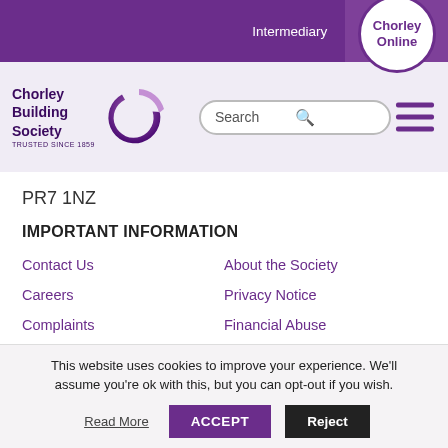Intermediary | Contact Us | Chorley Online
[Figure (logo): Chorley Building Society logo with purple C icon and text 'TRUSTED SINCE 1859']
PR7 1NZ
IMPORTANT INFORMATION
Contact Us
About the Society
Careers
Privacy Notice
Complaints
Financial Abuse
Security
Savings Accounts T&Cs
Cookie Policy
Chorley Online T&Cs
This website uses cookies to improve your experience. We'll assume you're ok with this, but you can opt-out if you wish.
Read More | ACCEPT | Reject